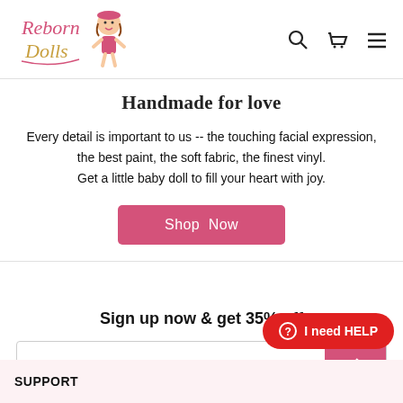[Figure (logo): Reborn Dolls logo with cursive pink text and cartoon girl doll illustration]
Handmade for love
Every detail is important to us -- the touching facial expression, the best paint, the soft fabric, the finest vinyl.
Get a little baby doll to fill your heart with joy.
Shop Now
Sign up now & get 35% off
Enter your email
I need HELP
SUPPORT